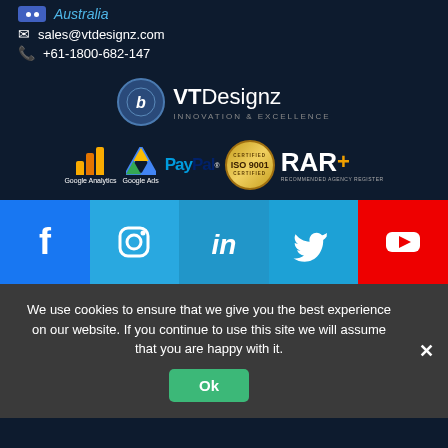Australia
sales@vtdesignz.com
+61-1800-682-147
[Figure (logo): VT Designz logo with circular emblem, brand name and tagline 'Innovation & Excellence']
[Figure (logo): Partner/certification badges: Google Analytics, Google Ads, PayPal, ISO 9001 Certified, RAR+ Recommended Agency Register]
[Figure (infographic): Social media icons row: Facebook, Instagram, LinkedIn, Twitter, YouTube]
We use cookies to ensure that we give you the best experience on our website. If you continue to use this site we will assume that you are happy with it.
Ok